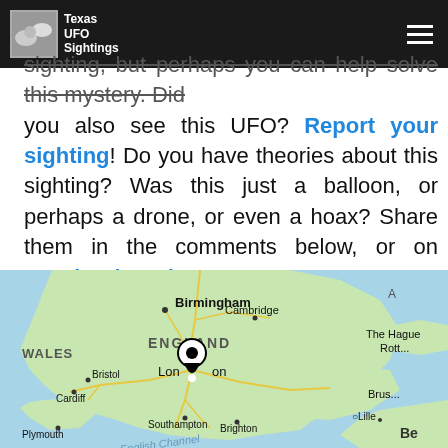Texas UFO Sightings
sighting, but perhaps you can help solve this mystery. Did you also see this UFO? Report your sighting! Do you have theories about this sighting? Was this just a balloon, or perhaps a drone, or even a hoax? Share them in the comments below, or on Facebook, Twitter, or Instagram!
[Figure (map): Map showing England and surrounding areas with a location pin on London. Shows Birmingham, Cambridge, ENGLAND, WALES, Bristol, Cardiff, Southampton, Brighton, Plymouth, English Channel, and partial labels for The Hague, Rotterdam, Brussels, Lille, Belgium on the right side.]